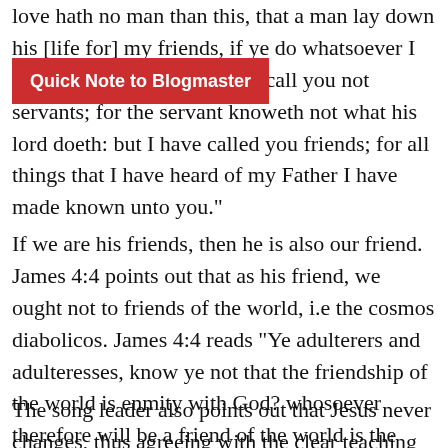love hath no man than this, that a man lay down his [life for] my friends, if ye do whatsoever I command you. Henceforth I call you not servants; for the servant knoweth not what his lord doeth: but I have called you friends; for all things that I have heard of my Father I have made known unto you."
Quick Note to Blogmaster
If we are his friends, then he is also our friend. James 4:4 points out that as his friend, we ought not to friends of the world, i.e the cosmos diabolicos. James 4:4 reads "Ye adulterers and adulteresses, know ye not that the friendship of the world is enmity with God? whosoever therefore will be a friend of the world is the enemy of God."
The song leader also points out that Jesus never changes, thus agreeing with the clear teaching of Hebrews 13:8 which says, Jesus Christ is the same